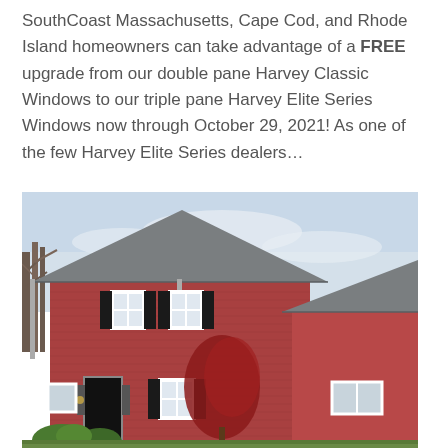SouthCoast Massachusetts, Cape Cod, and Rhode Island homeowners can take advantage of a FREE upgrade from our double pane Harvey Classic Windows to our triple pane Harvey Elite Series Windows now through October 29, 2021! As one of the few Harvey Elite Series dealers...
[Figure (photo): Exterior photo of a two-story red brick colonial house with gray roof, black shutters on white-framed windows, a red leafed ornamental tree in front, and green shrubs, taken in spring with bare trees in the background.]